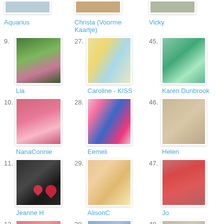[Figure (photo): Thumbnail image for Aquarius entry (partial, top of page)]
Aquarius
[Figure (photo): Thumbnail image for Christa (Voorme Kaartje) entry (partial, top of page)]
Christa (Voorme Kaartje)
[Figure (photo): Thumbnail image for Vicky entry (partial, top of page)]
Vicky
[Figure (photo): Entry 9 thumbnail - craft card with floral wreath design]
9. Lia
[Figure (photo): Entry 27 thumbnail - colorful abstract art card]
27. Caroline - KISS
[Figure (photo): Entry 45 thumbnail - green circular art card]
45. Karen Dunbrook
[Figure (photo): Entry 10 thumbnail - pink patterned card]
10. NanaConnie
[Figure (photo): Entry 28 thumbnail - colorful patterned fabric squares]
28. Eemeli
[Figure (photo): Entry 46 thumbnail - card with hearts and number 30]
46. Helen
[Figure (photo): Entry 11 thumbnail - black and white plaid with hearts]
11. Jeanne H
[Figure (photo): Entry 29 thumbnail - colorful floral quilt-style card]
29. AlisonC
[Figure (photo): Entry 47 thumbnail - Santa Claus Christmas card]
47. Jo
[Figure (photo): Entry 12 thumbnail - partial view of craft card]
12.
[Figure (photo): Entry 30 thumbnail - partial view of craft card]
30.
[Figure (photo): Entry 48 thumbnail - partial view of craft card]
48.